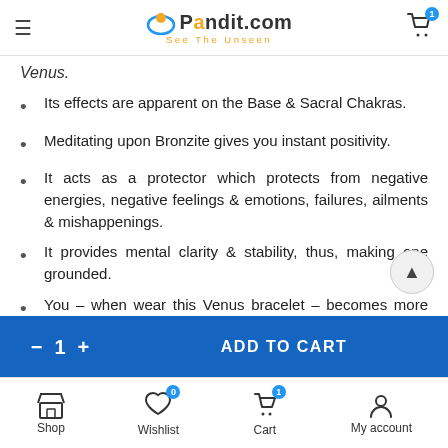Pandit.com - See The Unseen
Venus.
Its effects are apparent on the Base & Sacral Chakras.
Meditating upon Bronzite gives you instant positivity.
It acts as a protector which protects from negative energies, negative feelings & emotions, failures, ailments & mishappenings.
It provides mental clarity & stability, thus, making one grounded.
You – when wear this Venus bracelet – becomes more creative to do extraordinary inventions.
- 1 + ADD TO CART | Shop | Wishlist 0 | Cart 1 | My account